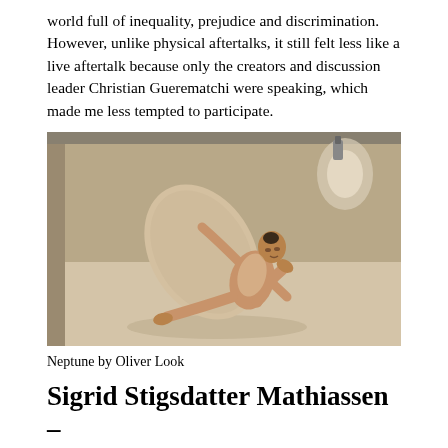world full of inequality, prejudice and discrimination. However, unlike physical aftertalks, it still felt less like a live aftertalk because only the creators and discussion leader Christian Guerematchi were speaking, which made me less tempted to participate.
[Figure (photo): A dancer on a studio floor, sitting and leaning back while holding a large oval/leaf-shaped prop, with legs extended. Warm beige and neutral tones. Spotlight visible in upper right corner.]
Neptune by Oliver Look
Sigrid Stigsdatter Mathiassen –